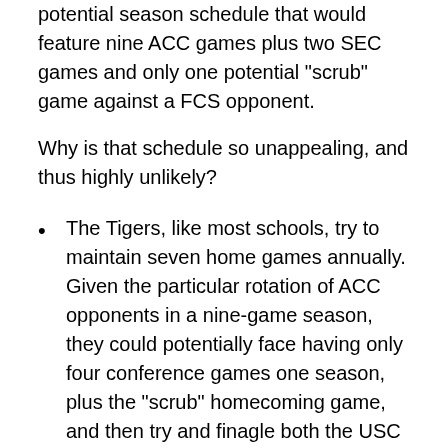potential season schedule that would feature nine ACC games plus two SEC games and only one potential "scrub" game against a FCS opponent.
Why is that schedule so unappealing, and thus highly unlikely?
The Tigers, like most schools, try to maintain seven home games annually. Given the particular rotation of ACC opponents in a nine-game season, they could potentially face having only four conference games one season, plus the "scrub" homecoming game, and then try and finagle both the USC and UGA series to both take place in Death Valley - except that would mean a lack of homes the following year.
It's a really, really hard schedule. Say what you